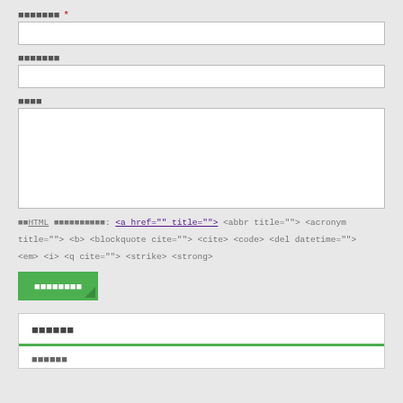▪▪▪▪▪▪▪ *
[text input field]
▪▪▪▪▪▪▪
[text input field]
▪▪▪▪
[textarea field]
▪▪HTML ▪▪▪▪▪▪▪▪▪▪: <a href="" title=""> <abbr title=""> <acronym title=""> <b> <blockquote cite=""> <cite> <code> <del datetime=""> <em> <i> <q cite=""> <strike> <strong>
▪▪▪▪▪▪▪▪
▪▪▪▪▪▪
▪▪▪▪▪▪